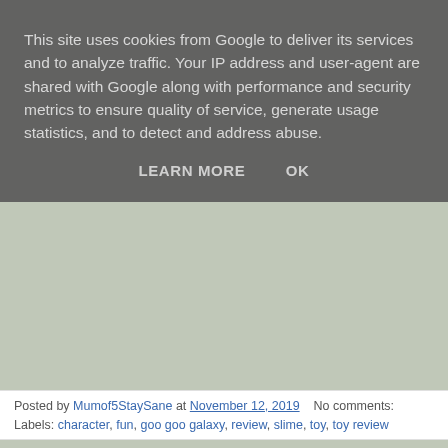This site uses cookies from Google to deliver its services and to analyze traffic. Your IP address and user-agent are shared with Google along with performance and security metrics to ensure quality of service, generate usage statistics, and to detect and address abuse.
LEARN MORE    OK
Posted by Mumof5StaySane at November 12, 2019   No comments:
Labels: character, fun, goo goo galaxy, review, slime, toy, toy review
MONDAY, 4 NOVEMBER 2019
Review {AD} 3Doodler Start Essential Pen set. 3D a
[Figure (photo): 3Doodler Start Essentials pen set box (orange with teal branding) and a 3D pen being used, against a teal background]